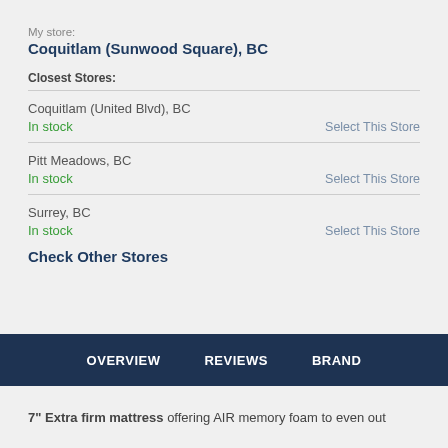My store:
Coquitlam (Sunwood Square), BC
Closest Stores:
Coquitlam (United Blvd), BC
In stock   Select This Store
Pitt Meadows, BC
In stock   Select This Store
Surrey, BC
In stock   Select This Store
Check Other Stores
OVERVIEW   REVIEWS   BRAND
7" Extra firm mattress offering AIR memory foam to even out